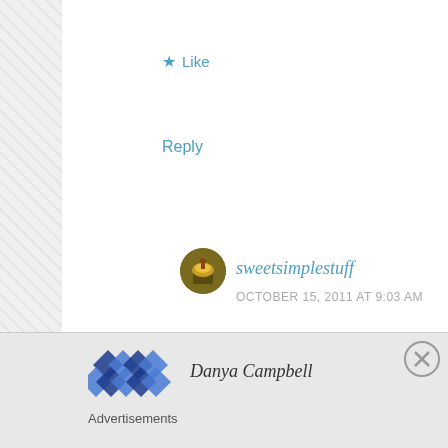★ Like
Reply
sweetsimplestuff
OCTOBER 15, 2011 AT 9:03 AM
I agree … chocolate and peanut butter are a
★ Like
Reply
Danya Campbell
Advertisements